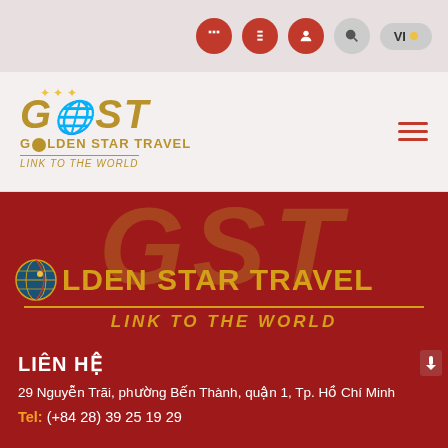[Figure (screenshot): Top navigation bar with social media icons (red circles with white icons), search icon, and VI language toggle button on a light pinkish-grey background]
[Figure (logo): Golden Star Travel logo: GST in large gold italic letters with star accent, 'GOLDEN STAR TRAVEL' text, 'LINK TO THE WORLD' tagline, and hamburger menu icon on right]
[Figure (logo): Large red banner with faded GST letters in background, globe icon, 'GOLDEN STAR TRAVEL' in gold bold text, gold divider line, 'LINK TO THE WORLD' in gold italic text]
LIÊN HỆ
29 Nguyễn Trãi, phường Bến Thành, quận 1, Tp. Hồ Chí Minh
Tel:  (+84 28) 39 25 19 29